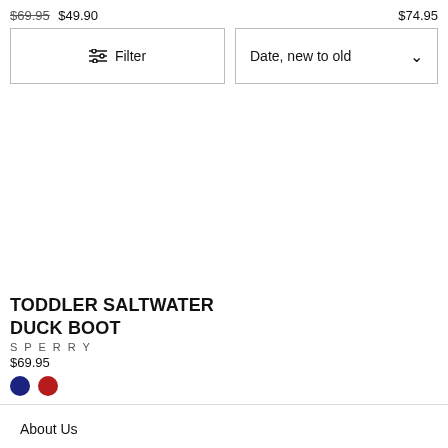$69.95  $49.90
$74.95
Filter
Date, new to old
TODDLER SALTWATER DUCK BOOT
SPERRY
$69.95
[Figure (other): Navy blue and red color swatches (circles)]
About Us
Return Policy